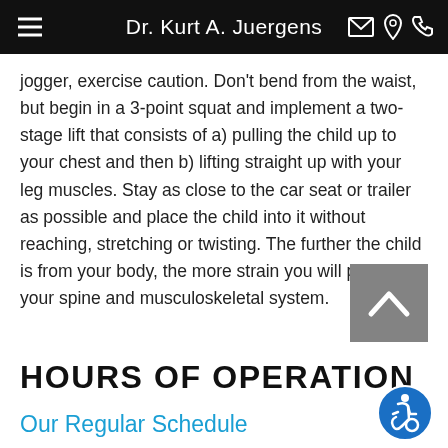Dr. Kurt A. Juergens
jogger, exercise caution. Don't bend from the waist, but begin in a 3-point squat and implement a two-stage lift that consists of a) pulling the child up to your chest and then b) lifting straight up with your leg muscles. Stay as close to the car seat or trailer as possible and place the child into it without reaching, stretching or twisting. The further the child is from your body, the more strain you will place on your spine and musculoskeletal system.
HOURS OF OPERATION
Our Regular Schedule